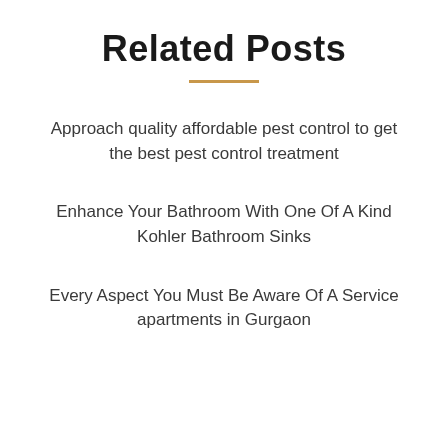Related Posts
Approach quality affordable pest control to get the best pest control treatment
Enhance Your Bathroom With One Of A Kind Kohler Bathroom Sinks
Every Aspect You Must Be Aware Of A Service apartments in Gurgaon